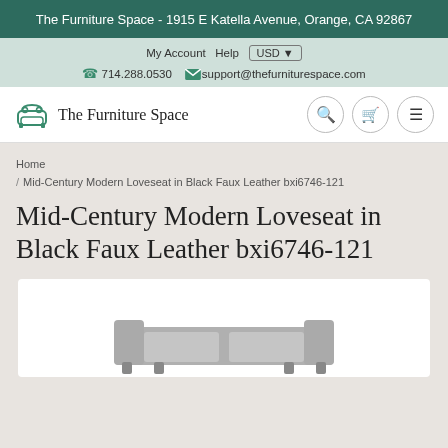The Furniture Space  - 1915 E Katella Avenue, Orange, CA 92867
My Account  Help  USD
714.288.0530  support@thefurniturespace.com
[Figure (logo): The Furniture Space logo with sofa icon and text]
Home / Mid-Century Modern Loveseat in Black Faux Leather bxi6746-121
Mid-Century Modern Loveseat in Black Faux Leather bxi6746-121
[Figure (photo): Product image of a mid-century modern loveseat in black faux leather, partially visible at bottom of page]